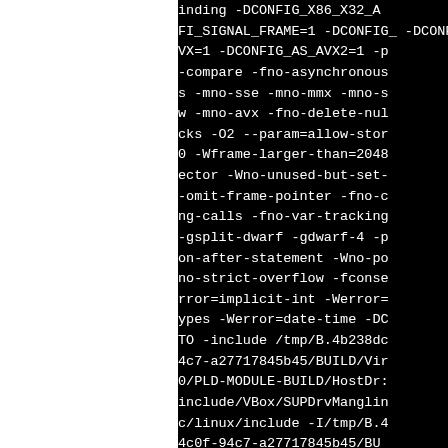...inding -DCONFIG_X86_X32_A... FI_SIGNAL_FRAME=1 -DCONFIG_ONS=1 -DCONFIG_AS_CRC32=1 -DCONFIG_AS_AVX2=1 -p... -compare -fno-asynchronous... s -mno-sse -mno-mmx -mno-s... w -mno-avx -fno-delete-nul... cks -O2 --param=allow-stor... 0 -Wframe-larger-than=2048... ector -Wno-unused-but-set-... -omit-frame-pointer -fno-o... ng-calls -fno-var-tracking... -gsplit-dwarf -gdwarf-4 -p... on-after-statement -Wno-po... no-strict-overflow -fconse... rror=implicit-int -Werror=... ypes -Werror=date-time -DC... TO -include /tmp/B.4b238dc... 4c7-a27717845b45/BUILD/Vir... 0/PLD-MODULE-BUILD/HostDr:... include/VBox/SUPDrvManglin... c/linux/include -I/tmp/B.4... 4c0f-94c7-a27717845b45/BU... -4.3.20/PLD-MODULE-BUILD/H...